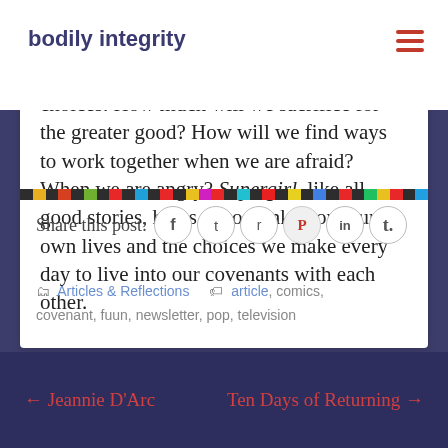bodily integrity
Ultimately, for me, the show asks us about our choices. How much will we sacrifice for the greater good? How will we find ways to work together when we are afraid? When we are angry? Supergirl, like all good stories, helps us to think about our own lives and the choices we make every day to live into our covenants with each other.
Share this post:
Articles & Reflections   article, comics, covenant, fuun, newsletter, pop, television
← Jeannie D'Arc    Ten Days of Returning →